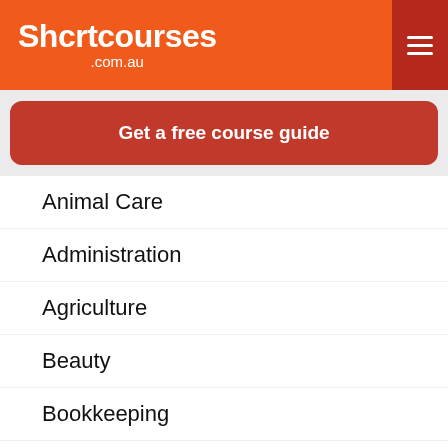Shcrtcourses .com.au
[Figure (other): Red button with text 'Get a free course guide']
Animal Care
Administration
Agriculture
Beauty
Bookkeeping
Celebrancy
Counselling
Dog Grooming